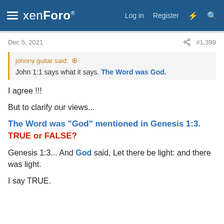xenForo — Log in  Register
Dec 5, 2021  #1,399
johnny guitar said: ↑
John 1:1 says what it says. The Word was God.
I agree !!!
But to clarify our views...
The Word was "God" mentioned in Genesis 1:3. TRUE or FALSE?
Genesis 1:3... And God said, Let there be light: and there was light.
I say TRUE.